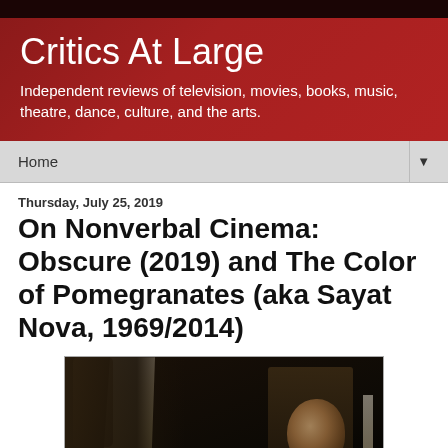Critics At Large
Independent reviews of television, movies, books, music, theatre, dance, culture, and the arts.
Home
Thursday, July 25, 2019
On Nonverbal Cinema: Obscure (2019) and The Color of Pomegranates (aka Sayat Nova, 1969/2014)
[Figure (photo): A dark cinematic film still showing figures in low light, one with a visible face in three-quarter profile, with fabric drapery visible on the left side of the frame.]